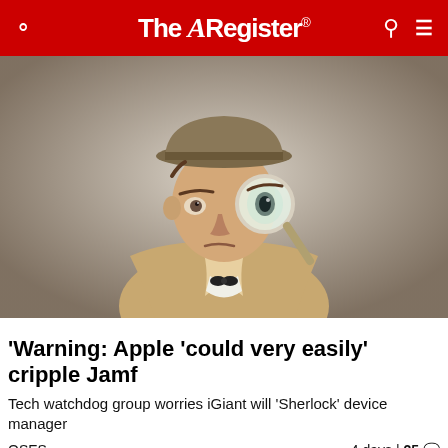The Register
[Figure (photo): A man in a trench coat and bowler hat holding a magnifying glass up to one eye, looking through it with an exaggerated wide eye expression, styled as a detective.]
Warning: Apple 'could very easily' cripple Jamf
Tech watchdog group worries iGiant will 'Sherlock' device manager
OSES                                                    4 days | 25 💬